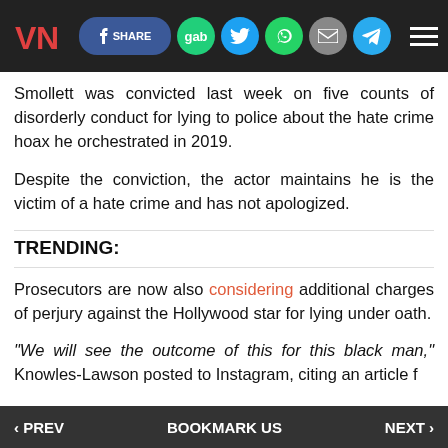VN | f SHARE | gab | Twitter | WhatsApp | Mail | Telegram | Menu
Smollett was convicted last week on five counts of disorderly conduct for lying to police about the hate crime hoax he orchestrated in 2019.
Despite the conviction, the actor maintains he is the victim of a hate crime and has not apologized.
TRENDING:
Prosecutors are now also considering additional charges of perjury against the Hollywood star for lying under oath.
“We will see the outcome of this for this black man,” Knowles-Lawson posted to Instagram, citing an article f
‹ PREV | BOOKMARK US | NEXT ›